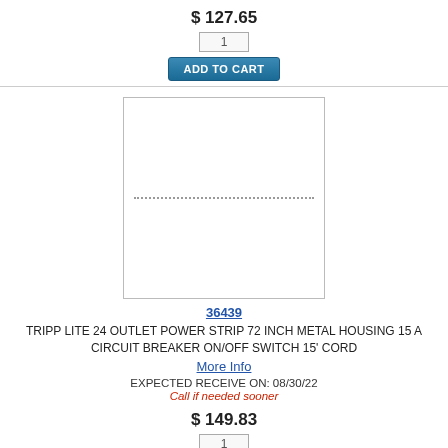$ 127.65
1
ADD TO CART
[Figure (photo): Product image placeholder with dotted horizontal line across center]
36439
TRIPP LITE 24 OUTLET POWER STRIP 72 INCH METAL HOUSING 15 A CIRCUIT BREAKER ON/OFF SWITCH 15' CORD
More Info
EXPECTED RECEIVE ON: 08/30/22
Call if needed sooner
$ 149.83
1
ADD TO CART
[Figure (screenshot): Live Help OFFLINE - LEAVE A MESSAGE bar with blue background and yellow button]
[Figure (photo): Purple-handled pliers/diagonal cutters tool]